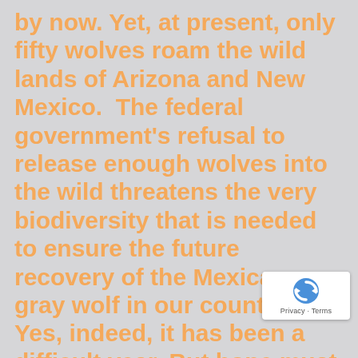by now. Yet, at present, only fifty wolves roam the wild lands of Arizona and New Mexico.  The federal government's refusal to release enough wolves into the wild threatens the very biodiversity that is needed to ensure the future recovery of the Mexican gray wolf in our country.  Yes, indeed, it has been a difficult year. But hope must prevail!

Despite the challenges we face, wolf watchers have grown stronger as an extended family – a growing number of people across the nation who seek to [celebrate with them the recovery of the]
[Figure (other): reCAPTCHA badge with Privacy - Terms text]